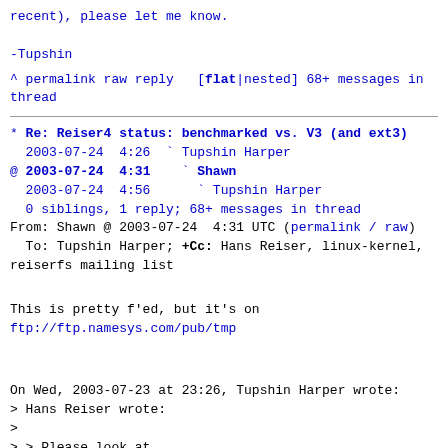recent), please let me know.

-Tupshin
^ permalink raw reply   [flat|nested] 68+ messages in thread
* Re: Reiser4 status: benchmarked vs. V3 (and ext3)
  2003-07-24  4:26 ` Tupshin Harper
@ 2003-07-24  4:31   ` Shawn
  2003-07-24  4:56     ` Tupshin Harper
  0 siblings, 1 reply; 68+ messages in thread
From: Shawn @ 2003-07-24  4:31 UTC (permalink / raw)
  To: Tupshin Harper; +Cc: Hans Reiser, linux-kernel, reiserfs mailing list
This is pretty f'ed, but it's on
ftp://ftp.namesys.com/pub/tmp
On Wed, 2003-07-23 at 23:26, Tupshin Harper wrote:
> Hans Reiser wrote:
>
> > Please look at
http://www.namesys.com/benchmarks/v4marks.html
> >
> > In brief, V4 is way faster than V3, and the wandering logs are indeed
> > twice as fast as fixed location logs when